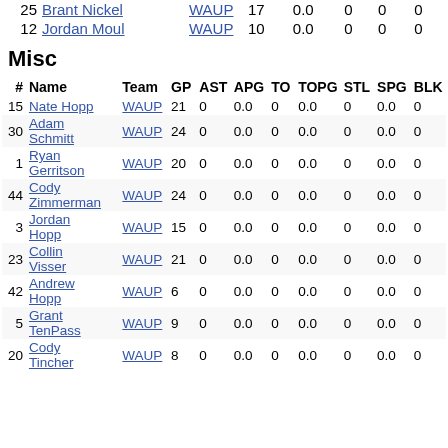| # | Name | Team | GP | AST | APG | TO | TOPG | STL | SPG | BLK |
| --- | --- | --- | --- | --- | --- | --- | --- | --- | --- | --- |
| 25 | Brant Nickel | WAUP | 17 | 0.0 | 0 | 0 | 0 |
| 12 | Jordan Moul | WAUP | 10 | 0.0 | 0 | 0 | 0 |
Misc
| # | Name | Team | GP | AST | APG | TO | TOPG | STL | SPG | BLK |
| --- | --- | --- | --- | --- | --- | --- | --- | --- | --- | --- |
| 15 | Nate Hopp | WAUP | 21 | 0 | 0.0 | 0 | 0.0 | 0 | 0.0 | 0 |
| 30 | Adam Schmitt | WAUP | 24 | 0 | 0.0 | 0 | 0.0 | 0 | 0.0 | 0 |
| 1 | Ryan Gerritson | WAUP | 20 | 0 | 0.0 | 0 | 0.0 | 0 | 0.0 | 0 |
| 44 | Cody Zimmerman | WAUP | 24 | 0 | 0.0 | 0 | 0.0 | 0 | 0.0 | 0 |
| 3 | Jordan Hopp | WAUP | 15 | 0 | 0.0 | 0 | 0.0 | 0 | 0.0 | 0 |
| 23 | Collin Visser | WAUP | 21 | 0 | 0.0 | 0 | 0.0 | 0 | 0.0 | 0 |
| 42 | Andrew Hopp | WAUP | 6 | 0 | 0.0 | 0 | 0.0 | 0 | 0.0 | 0 |
| 5 | Grant TenPass | WAUP | 9 | 0 | 0.0 | 0 | 0.0 | 0 | 0.0 | 0 |
| 20 | Cody Tincher | WAUP | 8 | 0 | 0.0 | 0 | 0.0 | 0 | 0.0 | 0 |